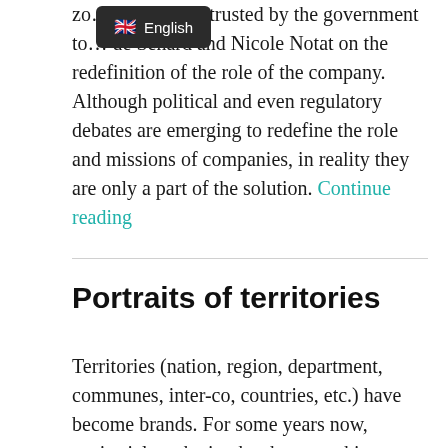…sion was entrusted by the government to … Jean-Dominique Senard and Nicole Notat on the redefinition of the role of the company. Although political and even regulatory debates are emerging to redefine the role and missions of companies, in reality they are only a part of the solution. Continue reading
Portraits of territories
Territories (nation, region, department, communes, inter-co, countries, etc.) have become brands. For some years now, territorial marketing has been working to build brand territories around these brand-territories. But these new brands remain weak in terms